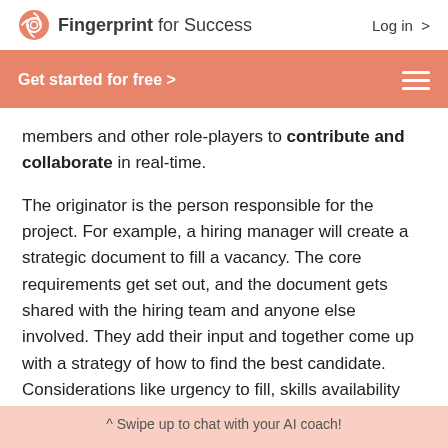Fingerprint for Success  Log in >
Get started for free >
members and other role-players to contribute and collaborate in real-time.
The originator is the person responsible for the project. For example, a hiring manager will create a strategic document to fill a vacancy. The core requirements get set out, and the document gets shared with the hiring team and anyone else involved. They add their input and together come up with a strategy of how to find the best candidate. Considerations like urgency to fill, skills availability and market-related salary are discussed in the
^ Swipe up to chat with your AI coach!